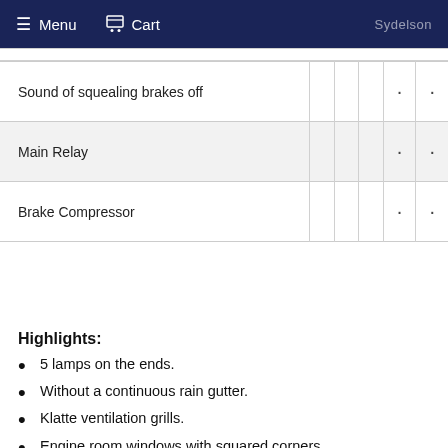Menu  Cart
| Sound of squealing brakes off |  |  |  | · | · |
| Main Relay |  |  |  | · | · |
| Brake Compressor |  |  |  | · | · |
Highlights:
5 lamps on the ends.
Without a continuous rain gutter.
Klatte ventilation grills.
Engine room windows with squared corners.